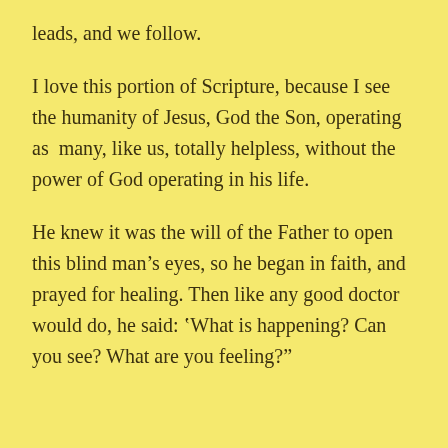leads, and we follow.
I love this portion of Scripture, because I see the humanity of Jesus, God the Son, operating as many, like us, totally helpless, without the power of God operating in his life.
He knew it was the will of the Father to open this blind man’s eyes, so he began in faith, and prayed for healing. Then like any good doctor would do, he said: ‛What is happening? Can you see? What are you feeling?”